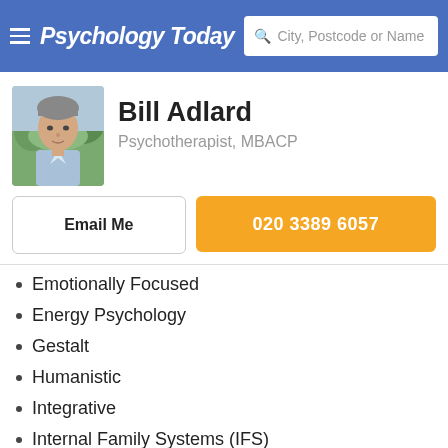Psychology Today — City, Postcode or Name
Bill Adlard
Psychotherapist, MBACP
Email Me
020 3389 6057
Emotionally Focused
Energy Psychology
Gestalt
Humanistic
Integrative
Internal Family Systems (IFS)
Interpersonal
Jungian
Person-Centred
Psychodynamic
Relational
Sandplay